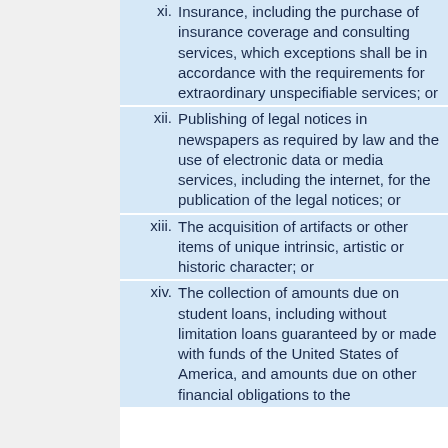xi. Insurance, including the purchase of insurance coverage and consulting services, which exceptions shall be in accordance with the requirements for extraordinary unspecifiable services; or
xii. Publishing of legal notices in newspapers as required by law and the use of electronic data or media services, including the internet, for the publication of the legal notices; or
xiii. The acquisition of artifacts or other items of unique intrinsic, artistic or historic character; or
xiv. The collection of amounts due on student loans, including without limitation loans guaranteed by or made with funds of the United States of America, and amounts due on other financial obligations to the